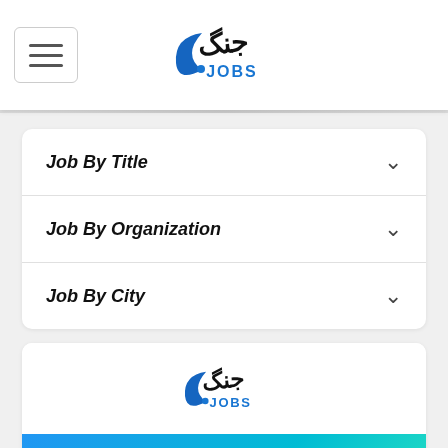Jang Jobs - navigation header with hamburger menu and logo
Job By Title
Job By Organization
Job By City
[Figure (logo): Jang Jobs logo - Urdu text with crescent and JOBS text in blue]
ACCOUNTANT